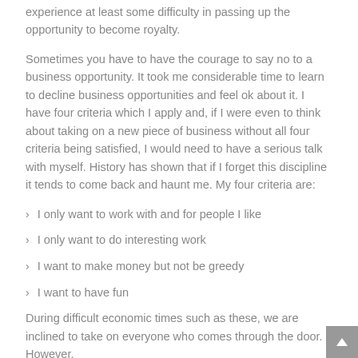experience at least some difficulty in passing up the opportunity to become royalty.
Sometimes you have to have the courage to say no to a business opportunity. It took me considerable time to learn to decline business opportunities and feel ok about it. I have four criteria which I apply and, if I were even to think about taking on a new piece of business without all four criteria being satisfied, I would need to have a serious talk with myself. History has shown that if I forget this discipline it tends to come back and haunt me. My four criteria are:
I only want to work with and for people I like
I only want to do interesting work
I want to make money but not be greedy
I want to have fun
During difficult economic times such as these, we are inclined to take on everyone who comes through the door. However,